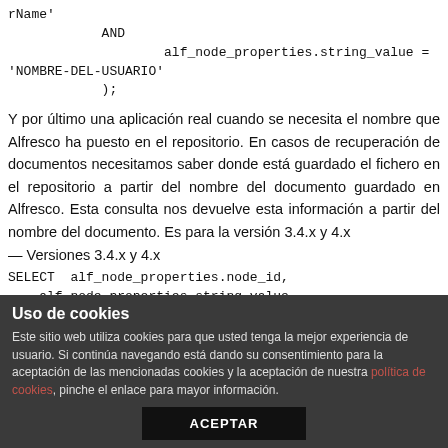rName'
            AND
                    alf_node_properties.string_value =
'NOMBRE-DEL-USUARIO'
            );
Y por último una aplicación real cuando se necesita el nombre que Alfresco ha puesto en el repositorio. En casos de recuperación de documentos necesitamos saber donde está guardado el fichero en el repositorio a partir del nombre del documento guardado en Alfresco. Esta consulta nos devuelve esta información a partir del nombre del documento. Es para la versión 3.4.x y 4.x
— Versiones 3.4.x y 4.x
SELECT  alf_node_properties.node_id,
    alf_node_properties.string_value,
    alf_node_propert...
Uso de cookies
Este sitio web utiliza cookies para que usted tenga la mejor experiencia de usuario. Si continúa navegando está dando su consentimiento para la aceptación de las mencionadas cookies y la aceptación de nuestra política de cookies, pinche el enlace para mayor información.
ACEPTAR